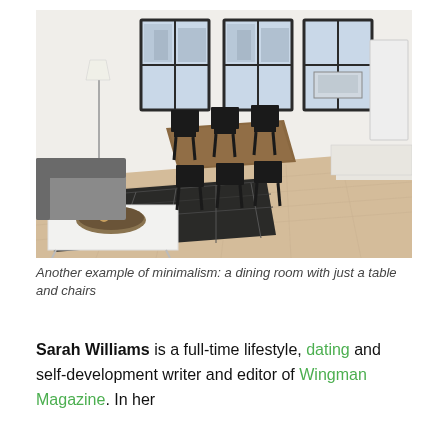[Figure (photo): Interior photo of a minimalist dining room: light hardwood floors, white walls, three large black-framed windows in background with city buildings visible outside. A rectangular dining table with six black chairs sits in the middle. On the left foreground, a grey sofa and a white rectangular coffee table on a dark geometric-patterned rug. A floor lamp stands top-left. A white canvas/board leans against the right wall.]
Another example of minimalism: a dining room with just a table and chairs
Sarah Williams is a full-time lifestyle, dating and self-development writer and editor of Wingman Magazine. In her